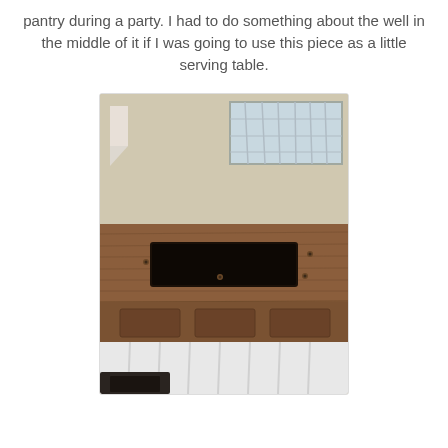pantry during a party. I had to do something about the well in the middle of it if I was going to use this piece as a little serving table.
[Figure (photo): A wooden table/cabinet with a rectangular well (hole) in the center of its top surface, likely a former sewing machine cabinet. The piece is set against a beige wall with a decorative window visible in the background. White fabric/curtains hang beneath the table top, and dark items are visible at the base.]